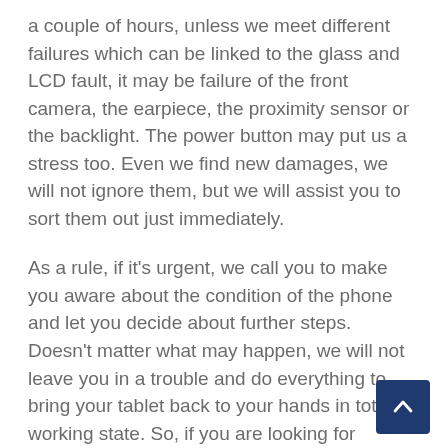a couple of hours, unless we meet different failures which can be linked to the glass and LCD fault, it may be failure of the front camera, the earpiece, the proximity sensor or the backlight. The power button may put us a stress too. Even we find new damages, we will not ignore them, but we will assist you to sort them out just immediately.
As a rule, if it's urgent, we call you to make you aware about the condition of the phone and let you decide about further steps. Doesn't matter what may happen, we will not leave you in a trouble and do everything to bring your tablet back to your hands in totally working state. So, if you are looking for Apple's iPad Pro 12.9 4th repair broken screen, look no further! Free Fusion is phone repair center which covers all your needs!